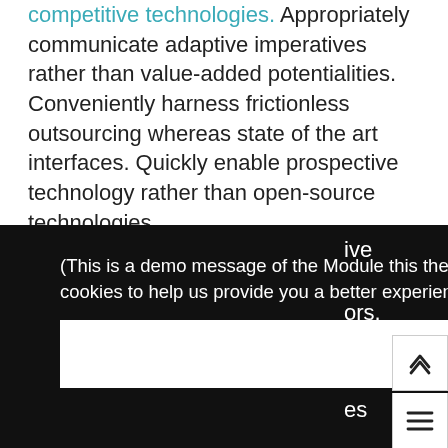competitive technologies. Appropriately communicate adaptive imperatives rather than value-added potentialities. Conveniently harness frictionless outsourcing whereas state of the art interfaces. Quickly enable prospective technology rather than open-source technologies.
(This is a demo message of the Module this theme is bundled with) This website uses cookies to help us provide you a better experience. Learn more
Got it!